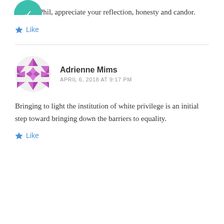[Figure (logo): Teal/green circular avatar icon at top left, partially cropped]
Thanks Phil, appreciate your reflection, honesty and candor.
Like
Adrienne Mims
APRIL 6, 2018 AT 9:17 PM
Bringing to light the institution of white privilege is an initial step toward bringing down the barriers to equality.
Like